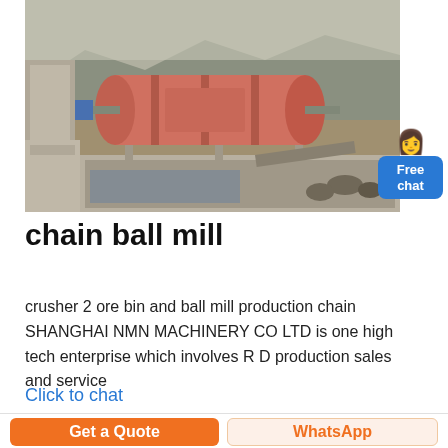[Figure (photo): Industrial ball mill machine at a mining/quarry site, showing a large cylindrical rotating drum (pink/red) mounted on a frame, with concrete structures, rocks, and mountains in the background.]
chain ball mill
crusher 2 ore bin and ball mill production chain SHANGHAI NMN MACHINERY CO LTD is one high tech enterprise which involves R D production sales and service
Click to chat
Get a Quote
WhatsApp